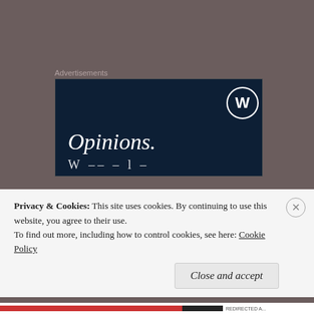[Figure (screenshot): WordPress advertisement banner with dark navy background, WordPress logo (W in circle) in top right, large italic text 'Opinions.' in white, and partially visible text below]
[Figure (screenshot): User comment section with blue-pattern avatar, commenter name 'Jacob S Blaustein', date 'September 28, 2018 at 2:16 pm', and partially visible comment text beginning with 'Also emphasizing this point is that plenty of warm blooded']
Privacy & Cookies: This site uses cookies. By continuing to use this website, you agree to their use.
To find out more, including how to control cookies, see here: Cookie Policy
Close and accept